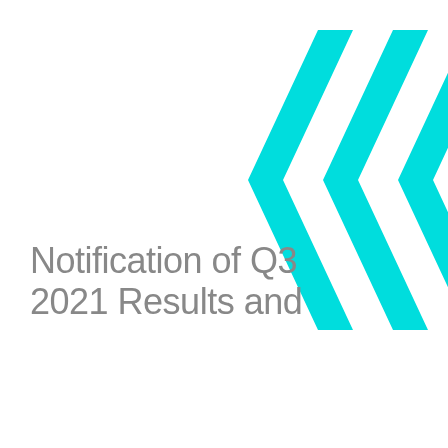[Figure (illustration): Decorative cyan/turquoise angular chevron/arrow shapes in the upper-right corner of the page, partially cropped]
Notification of Q3 2021 Results and